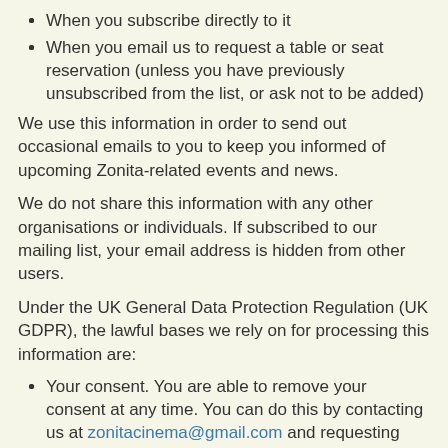When you subscribe directly to it
When you email us to request a table or seat reservation (unless you have previously unsubscribed from the list, or ask not to be added)
We use this information in order to send out occasional emails to you to keep you informed of upcoming Zonita-related events and news.
We do not share this information with any other organisations or individuals. If subscribed to our mailing list, your email address is hidden from other users.
Under the UK General Data Protection Regulation (UK GDPR), the lawful bases we rely on for processing this information are:
Your consent. You are able to remove your consent at any time. You can do this by contacting us at zonitacinema@gmail.com and requesting removal, or (if subscribed) unsubscribing from the mailing list.